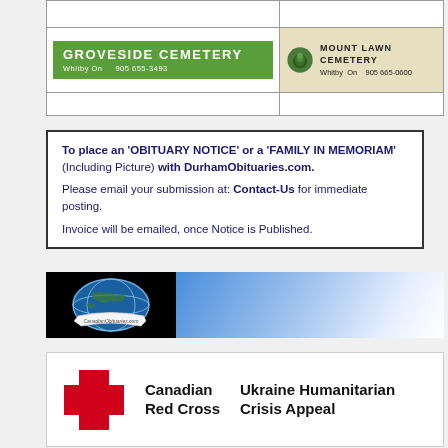[Figure (other): Groveside Cemetery advertisement - green banner with white text, Whitby On 905 655-3493]
[Figure (other): Mount Lawn Cemetery advertisement - beige banner with tree logo, Whitby On 905 665-0600]
To place an 'OBITUARY NOTICE' or a 'FAMILY IN MEMORIAM' (Including Picture) with DurhamObituaries.com. Please email your submission at: Contact-Us for immediate posting. Invoice will be emailed, once Notice is Published.
[Figure (other): CanadianObituaries.com banner with globe logo on black background and blue sky image]
[Figure (other): Canadian Red Cross - Ukraine Humanitarian Crisis Appeal advertisement with red cross logo]